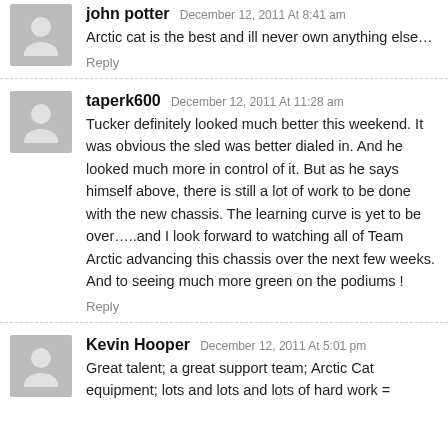john potter December 12, 2011 At 8:41 am
Arctic cat is the best and ill never own anything else…
Reply
taperk600 December 12, 2011 At 11:28 am
Tucker definitely looked much better this weekend. It was obvious the sled was better dialed in. And he looked much more in control of it. But as he says himself above, there is still a lot of work to be done with the new chassis. The learning curve is yet to be over…..and I look forward to watching all of Team Arctic advancing this chassis over the next few weeks. And to seeing much more green on the podiums !
Reply
Kevin Hooper December 12, 2011 At 5:01 pm
Great talent; a great support team; Arctic Cat equipment; lots and lots and lots of hard work =